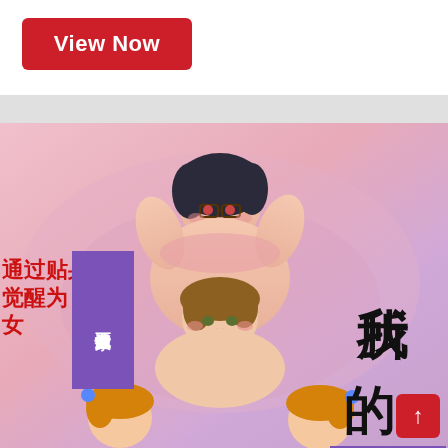[Figure (illustration): Web page screenshot showing a 'View Now' red button at top left, a grey navigation bar, and a manga/anime style illustration below with Chinese text overlays including title characters and descriptive text in red and purple boxes]
View Now
处女色情漫画家
通过贴身取材
觉醒为女
我所
不知道
的